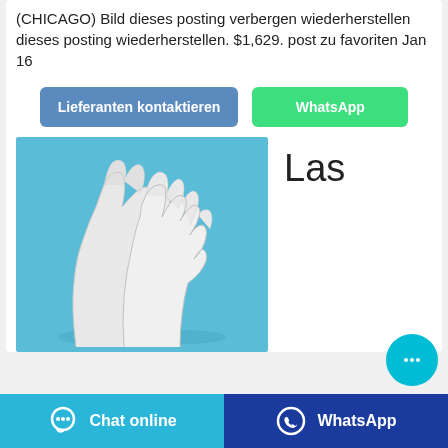(CHICAGO) Bild dieses posting verbergen wiederherstellen dieses posting wiederherstellen. $1,629. post zu favoriten Jan 16
[Figure (screenshot): Two blue buttons: 'Lieferanten kontaktieren' (blue/teal) and 'WhatsApp' (green)]
[Figure (photo): Two white latex/rubber gloves displayed on a blue background, palm side up]
Las
[Figure (other): Cyan chat bubble floating action button with ellipsis (...)]
Chat online   WhatsApp